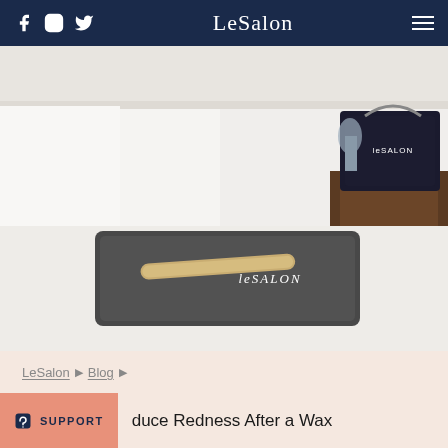LeSalon
[Figure (photo): A white treatment/massage bed with a dark grey LeSALON branded towel and a wooden wax applicator stick placed on it. In the background, a dark LeSALON branded bag sits on a side table.]
LeSalon ▶ Blog ▶
duce Redness After a Wax